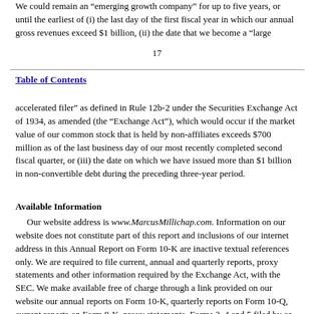We could remain an “emerging growth company” for up to five years, or until the earliest of (i) the last day of the first fiscal year in which our annual gross revenues exceed $1 billion, (ii) the date that we become a “large
17
Table of Contents
accelerated filer” as defined in Rule 12b-2 under the Securities Exchange Act of 1934, as amended (the “Exchange Act”), which would occur if the market value of our common stock that is held by non-affiliates exceeds $700 million as of the last business day of our most recently completed second fiscal quarter, or (iii) the date on which we have issued more than $1 billion in non-convertible debt during the preceding three-year period.
Available Information
Our website address is www.MarcusMillichap.com. Information on our website does not constitute part of this report and inclusions of our internet address in this Annual Report on Form 10-K are inactive textual references only. We are required to file current, annual and quarterly reports, proxy statements and other information required by the Exchange Act, with the SEC. We make available free of charge through a link provided on our website our annual reports on Form 10-K, quarterly reports on Form 10-Q, current reports on Form 8-K, proxy statements, Forms 3, 4 and 5 filed by or on behalf of directors,